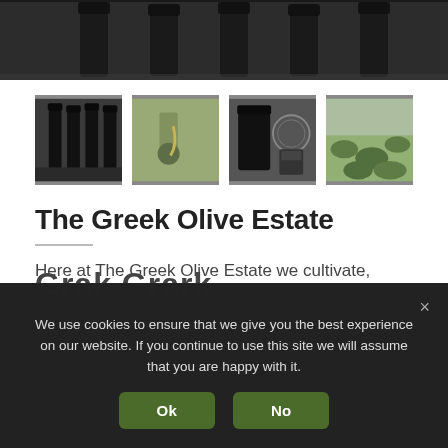[Figure (photo): Top hero image showing dark olive oil bottles on a reflective surface]
[Figure (photo): Four thumbnail photos: olive oil bottles, olive oil being poured into plant, black bottles with award seal, aerial view of olive grove]
The Greek Olive Estate
Here at The Greek Olive Estate we cultivate, prepare and package healthy olive oil with one goal: to preserve its natural flavor, quality and health benefits.
We use cookies to ensure that we give you the best experience on our website. If you continue to use this site we will assume that you are happy with it.